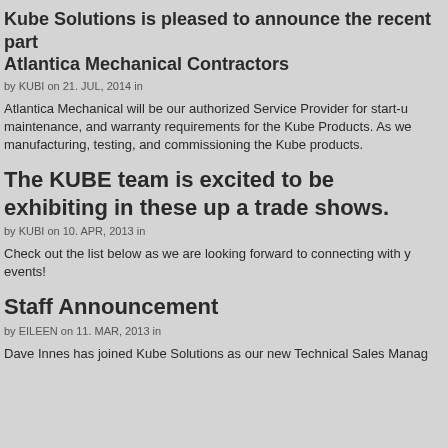Kube Solutions is pleased to announce the recent part Atlantica Mechanical Contractors
by KUBI on 21. JUL, 2014 in
Atlantica Mechanical will be our authorized Service Provider for start-u maintenance, and warranty requirements for the Kube Products. As we manufacturing, testing, and commissioning the Kube products.
The KUBE team is excited to be exhibiting in these up a trade shows.
by KUBI on 10. APR, 2013 in
Check out the list below as we are looking forward to connecting with y events!
Staff Announcement
by EILEEN on 11. MAR, 2013 in
Dave Innes has joined Kube Solutions as our new Technical Sales Manag